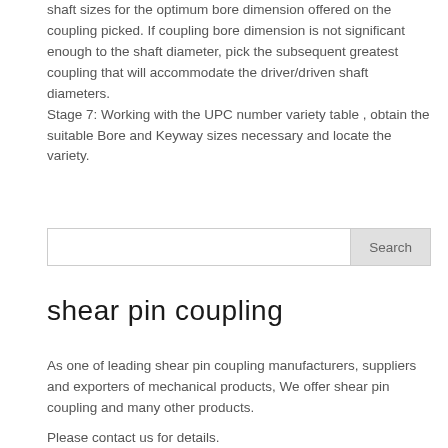shaft sizes for the optimum bore dimension offered on the coupling picked. If coupling bore dimension is not significant enough to the shaft diameter, pick the subsequent greatest coupling that will accommodate the driver/driven shaft diameters.
Stage 7: Working with the UPC number variety table , obtain the suitable Bore and Keyway sizes necessary and locate the variety.
Search
shear pin coupling
As one of leading shear pin coupling manufacturers, suppliers and exporters of mechanical products, We offer shear pin coupling and many other products.
Please contact us for details.